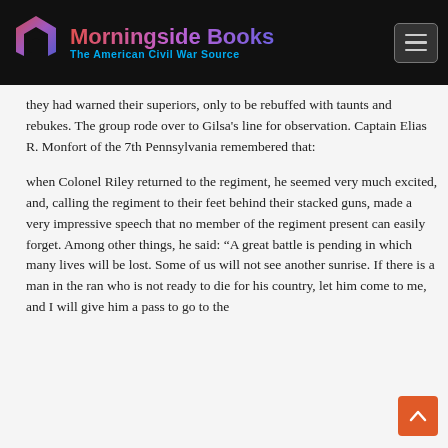Morningside Books — The American Civil War Source
they had warned their superiors, only to be rebuffed with taunts and rebukes. The group rode over to Gilsa's line for observation. Captain Elias R. Monfort of the 7th Pennsylvania remembered that:
when Colonel Riley returned to the regiment, he seemed very much excited, and, calling the regiment to their feet behind their stacked guns, made a very impressive speech that no member of the regiment present can easily forget. Among other things, he said: “A great battle is pending in which many lives will be lost. Some of us will not see another sunrise. If there is a man in the ran who is not ready to die for his country, let him come to me, and I will give him a pass to go to the